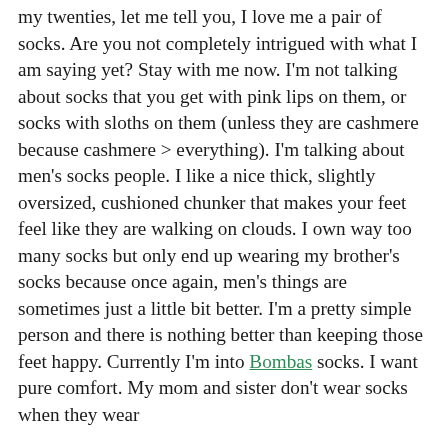my twenties, let me tell you, I love me a pair of socks. Are you not completely intrigued with what I am saying yet? Stay with me now. I'm not talking about socks that you get with pink lips on them, or socks with sloths on them (unless they are cashmere because cashmere > everything). I'm talking about men's socks people. I like a nice thick, slightly oversized, cushioned chunker that makes your feet feel like they are walking on clouds. I own way too many socks but only end up wearing my brother's socks because once again, men's things are sometimes just a little bit better. I'm a pretty simple person and there is nothing better than keeping those feet happy. Currently I'm into Bombas socks. I want pure comfort. My mom and sister don't wear socks when they wear...